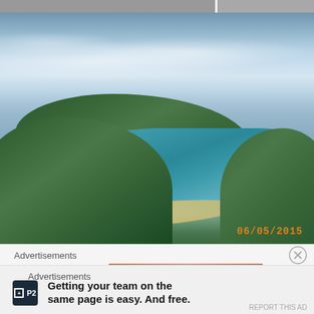[Figure (photo): Aerial/elevated view of a tropical coastal bay with lush green hills, a curved sandy beach, turquoise water, and settlements. Date stamp '06/05/2015' in orange in lower right corner.]
Advertisements
Advertisements
Getting your team on the same page is easy. And free.